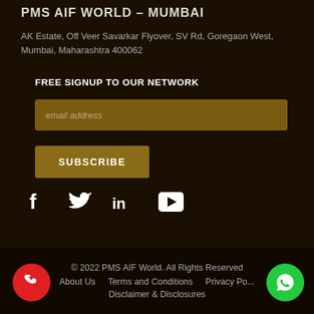PMS AIF WORLD – MUMBAI
AK Estate, Off Veer Savarkar Flyover, SV Rd, Goregaon West, Mumbai, Maharashtra 400062
FREE SIGNUP TO OUR NETWORK
[Figure (screenshot): Email address input field with golden/brown background and placeholder text 'email address']
[Figure (screenshot): Subscribe button with golden/brown background and white bold text 'SUBSCRIBE']
[Figure (infographic): Social media icons: Facebook (f), Twitter (bird), LinkedIn (in), YouTube (play button triangle)]
© 2022 PMS AIF World. All Rights Reserved
About Us   Terms and Conditions   Privacy Po...   Disclaimer & Disclosures